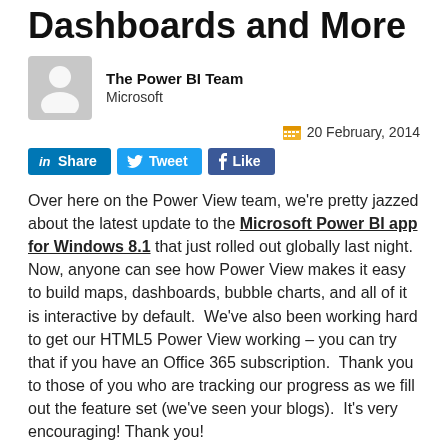Dashboards and More
[Figure (illustration): Generic user avatar placeholder icon in grey square]
The Power BI Team
Microsoft
20 February, 2014
[Figure (infographic): Social share buttons: LinkedIn Share, Twitter Tweet, Facebook Like]
Over here on the Power View team, we're pretty jazzed about the latest update to the Microsoft Power BI app for Windows 8.1 that just rolled out globally last night.  Now, anyone can see how Power View makes it easy to build maps, dashboards, bubble charts, and all of it is interactive by default.  We've also been working hard to get our HTML5 Power View working – you can try that if you have an Office 365 subscription.  Thank you to those of you who are tracking our progress as we fill out the feature set (we've seen your blogs).  It's very encouraging! Thank you!
We know you might not yet have the latest version of Excel,